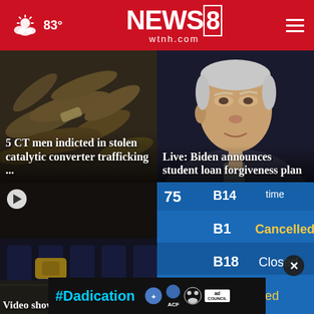NEWS8 wtnh.com — 83°
[Figure (photo): Stolen catalytic converters — pile of metal exhaust parts]
5 CT men indicted in stolen catalytic converter trafficking ...
[Figure (photo): President Biden close-up portrait]
Live: Biden announces student loan forgiveness plan
[Figure (photo): Video showing luggage or cargo on conveyor belt — dark scene with play button]
[Figure (screenshot): Airport departure board showing B14, B1, B18 gates with statuses: Cancelled, Closed]
Video shows
...plan per...
[Figure (infographic): #Dadication advertisement banner with ACF and Ad Council logos]